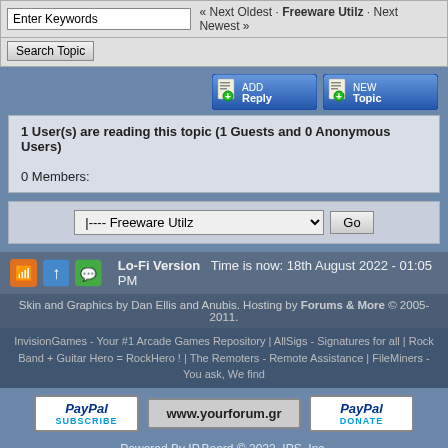Enter Keywords | « Next Oldest · Freeware Utilz · Next Newest »
Search Topic
[Figure (screenshot): ADD Reply and NEW Topic buttons]
1 User(s) are reading this topic (1 Guests and 0 Anonymous Users)
0 Members:
|---- Freeware Utilz  Go
Lo-Fi Version   Time is now: 18th August 2022 - 01:05 PM
Skin and Graphics by Dan Ellis and Anubis. Hosting by Forums & More © 2005-2011.
InvisionGames - Your #1 Arcade Games Repository | AllSigs - Signatures for all | Rock Band + Guitar Hero = RockHero ! | The Remoters - Remote Assistance | FileMiners - You ask, We find
[Figure (screenshot): PayPal Subscribe, www.yourforum.gr, and PayPal Donate buttons]
Powered By IP.Board © 2022  IPS, Inc.
Licensed to: www.yourforum.gr